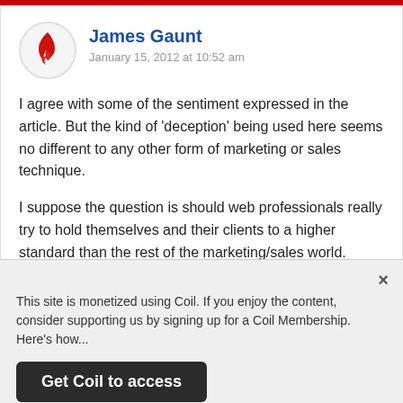James Gaunt
January 15, 2012 at 10:52 am
I agree with some of the sentiment expressed in the article. But the kind of ‘deception’ being used here seems no different to any other form of marketing or sales technique.
I suppose the question is should web professionals really try to hold themselves and their clients to a higher standard than the rest of the marketing/sales world.
Yes, sometimes it pays off if your site gets a reputation for being particularly honest, but in general you’re just throwing sales
This site is monetized using Coil. If you enjoy the content, consider supporting us by signing up for a Coil Membership. Here's how...
Get Coil to access